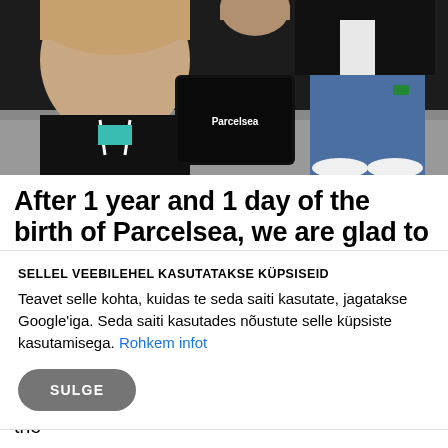[Figure (photo): Group photo of three people posing with a Parcelsea branded device/tablet. Two men visible prominently, one in a black hoodie smiling in the foreground, one in jeans on the right. A black device with 'Parcelsea' text sits in the center.]
After 1 year and 1 day of the birth of Parcelsea, we are glad to announce that the testing round
SELLEL VEEBILEHEL KASUTATAKSE KÜPSISEID
Teavet selle kohta, kuidas te seda saiti kasutate, jagatakse Google'iga. Seda saiti kasutades nõustute selle küpsiste kasutamisega. Rohkem infot
SULGE
Therefore, as of today already all households in the